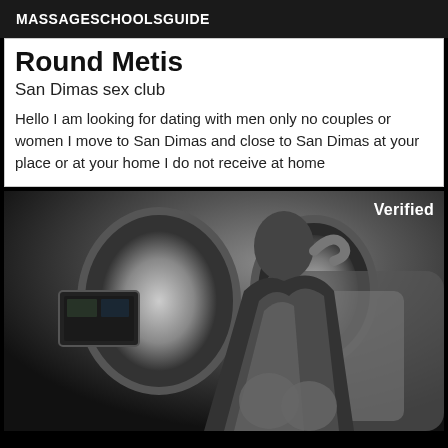MASSAGESCHOOLSGUIDE
Round Metis
San Dimas sex club
Hello I am looking for dating with men only no couples or women I move to San Dimas and close to San Dimas at your place or at your home I do not receive at home
[Figure (photo): Black and white photo of a woman in a patterned dress sitting in a private jet interior. A 'Verified' badge appears in the top right corner of the image.]